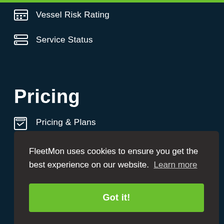Vessel Risk Rating
Service Status
Pricing
Pricing & Plans
C...
FleetMon uses cookies to ensure you get the best experience on our website. Learn more
Got it!